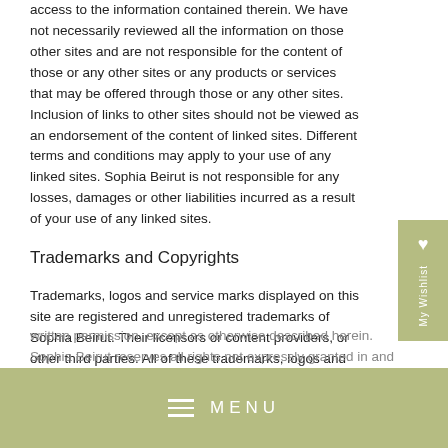access to the information contained therein. We have not necessarily reviewed all the information on those other sites and are not responsible for the content of those or any other sites or any products or services that may be offered through those or any other sites. Inclusion of links to other sites should not be viewed as an endorsement of the content of linked sites. Different terms and conditions may apply to your use of any linked sites. Sophia Beirut is not responsible for any losses, damages or other liabilities incurred as a result of your use of any linked sites.
Trademarks and Copyrights
Trademarks, logos and service marks displayed on this site are registered and unregistered trademarks of Sophia Beirut. Their licensors or content providers, or other third parties. All of these trademarks, logos and service marks are
written permission, except as otherwise described herein. Sophia Beirut reserves all rights not expressly granted in and